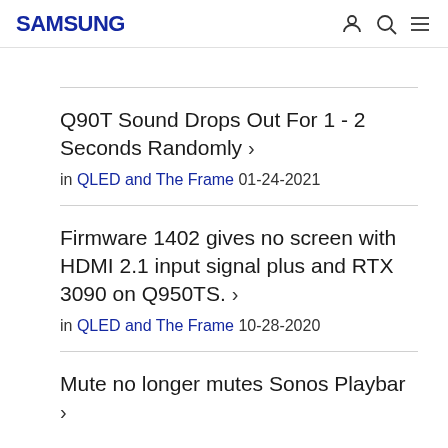SAMSUNG
Q90T Sound Drops Out For 1 - 2 Seconds Randomly › in QLED and The Frame 01-24-2021
Firmware 1402 gives no screen with HDMI 2.1 input signal plus and RTX 3090 on Q950TS. › in QLED and The Frame 10-28-2020
Mute no longer mutes Sonos Playbar ›